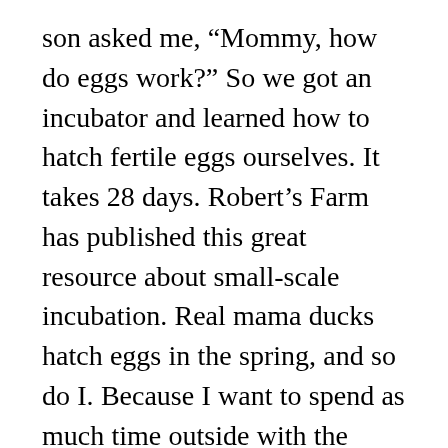son asked me, “Mommy, how do eggs work?” So we got an incubator and learned how to hatch fertile eggs ourselves. It takes 28 days. Robert’s Farm has published this great resource about small-scale incubation. Real mama ducks hatch eggs in the spring, and so do I. Because I want to spend as much time outside with the ducklings as possible, and it’s more pleasant for all of us if the weather’s warmer, I aim to hatch them in May/June. My son and I talk to the eggs every day when we cool them– the babies can hear us and begin to recognize our voices even before they hatch!